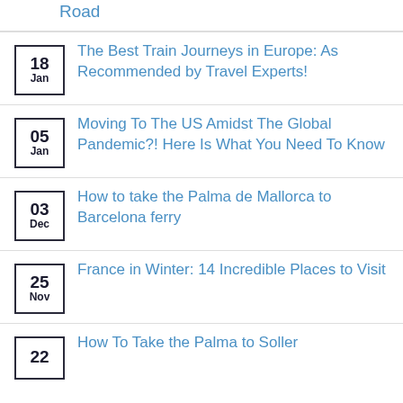Road
18 Jan – The Best Train Journeys in Europe: As Recommended by Travel Experts!
05 Jan – Moving To The US Amidst The Global Pandemic?! Here Is What You Need To Know
03 Dec – How to take the Palma de Mallorca to Barcelona ferry
25 Nov – France in Winter: 14 Incredible Places to Visit
22 – How To Take the Palma to Soller